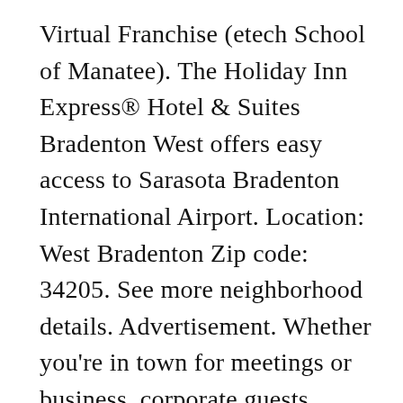Virtual Franchise (etech School of Manatee). The Holiday Inn Express® Hotel & Suites Bradenton West offers easy access to Sarasota Bradenton International Airport. Location: West Bradenton Zip code: 34205. See more neighborhood details. Advertisement. Whether you're in town for meetings or business, corporate guests appreciate having two large meeting rooms, free high- speed, wireless Internet access and a staff ready to help. Postal Code Listings for Zip Code Listings for West Bradenton, Florida (USA) The following are the areas codes and zip codes for West Bradenton, Florida ? Covid-19; Forum; Cities . Zip Codes; BRADENTON Zip Code (FL) Bradenton is a city of Manatee, Florida in the Deep South region